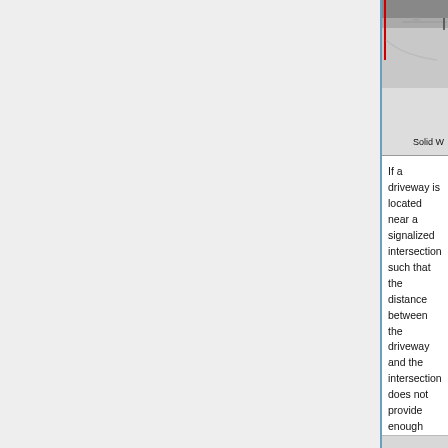[Figure (screenshot): Partial screenshot of a road diagram showing a lane line and 'Solid W' label visible at the right edge]
If a driveway is located near a signalized intersection such that the distance between the driveway and the intersection does not provide enough storage length, then the solid lane line should be continued through the driveway.
If a driveway occurs at a median break, the lane line should not be carried through the intersection. In the example below, the lane line was continued through the first driveway because the right turn lane was just beginning and not enough storage length was available for the driveway. The R3-7(R) sign was removed for the driveway.